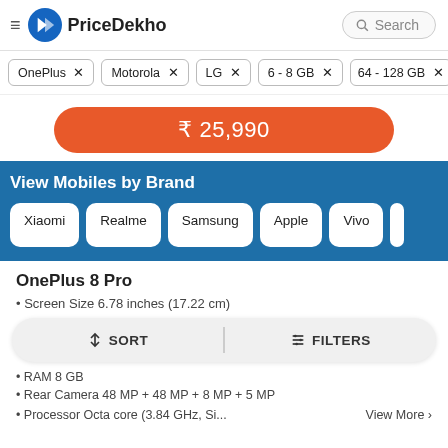PriceDekho – Search
OnePlus ×
Motorola ×
LG ×
6 - 8 GB ×
64 - 128 GB ×
₹ 25,990
View Mobiles by Brand
Xiaomi
Realme
Samsung
Apple
Vivo
OnePlus 8 Pro
• Screen Size 6.78 inches (17.22 cm)
⇅ SORT   |   ⚙ FILTERS
• RAM 8 GB
• Rear Camera 48 MP + 48 MP + 8 MP + 5 MP
• Processor Octa core (3.84 GHz, Si...